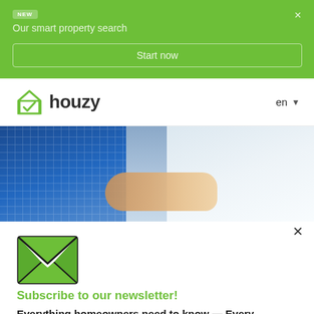NEW | Our smart property search
[Figure (logo): Houzy logo - green checkmark house icon with 'houzy' text]
en
[Figure (photo): Two people shaking hands - one in blue plaid shirt, one in white top]
×
[Figure (illustration): Green envelope/email icon]
Subscribe to our newsletter!
Everything homeowners need to know — Every